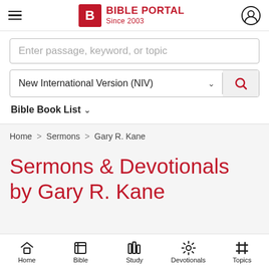[Figure (logo): Bible Portal logo with red B icon and text 'BIBLE PORTAL Since 2003']
Enter passage, keyword, or topic
New International Version (NIV)
Bible Book List
Home > Sermons > Gary R. Kane
Sermons & Devotionals
by Gary R. Kane
Home  Bible  Study  Devotionals  Topics